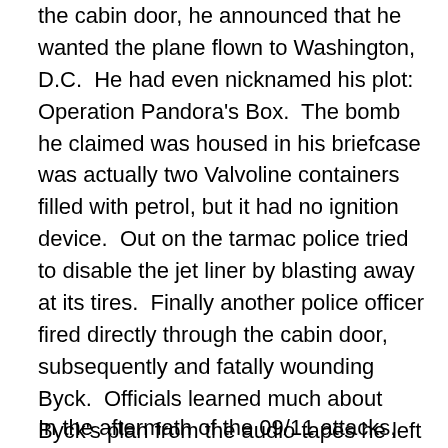the cabin door, he announced that he wanted the plane flown to Washington, D.C.  He had even nicknamed his plot: Operation Pandora's Box.  The bomb he claimed was housed in his briefcase was actually two Valvoline containers filled with petrol, but it had no ignition device.  Out on the tarmac police tried to disable the jet liner by blasting away at its tires.  Finally another police officer fired directly through the cabin door, subsequently and fatally wounding Byck.  Officials learned much about Byck's plan from the audio tapes he left behind.  However, both the media and the nation were enthralled with the brewing Watergate scandal, so Byck's failed hijacking warranted little attention.  Still, did no one with some degree of authority at the FBI – beyond that nosy secretary – not view this event with ominous potential?
In the aftermath of the 09/11 attacks, the country – already